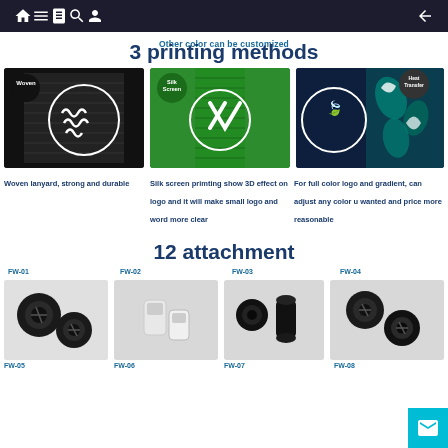Navigation bar with home, menu, book, search, profile, and back icons
Other color can be customized
3 printing methods
[Figure (photo): Woven lanyard close-up showing WYSA text in white thread on black background, with Woven badge]
Woven lanyard, strong and durable
[Figure (photo): Green silk screen printed lanyard with Silk Screen badge]
Silk screen primting show 3D effect on logo and it will make small logo and word more clear
[Figure (photo): Heat transfer lanyard with floral pattern, Heat Transfer badge]
For full color logo and gradient, can adjust any color u wanted and price more reasonable
12 attachment
[Figure (photo): FW-01 black cord locks]
[Figure (photo): FW-02 white metal clips]
[Figure (photo): FW-03 black barrel cord locks]
[Figure (photo): FW-04 black cord locks]
FW-05
FW-06
FW-07
FW-08